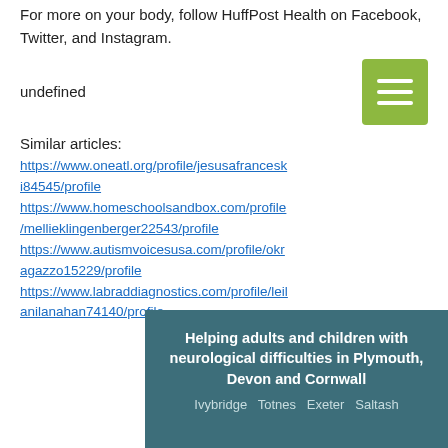For more on your body, follow HuffPost Health on Facebook, Twitter, and Instagram.
undefined
[Figure (other): Green hamburger menu button with three white horizontal lines]
Similar articles:
https://www.oneatl.org/profile/jesusafranceski84545/profile
https://www.homeschoolsandbox.com/profile/mellieklingenberger22543/profile
https://www.autismvoicesusa.com/profile/okragazzo15229/profile
https://www.labraddiagnostics.com/profile/leilanilanahan74140/profile
[Figure (other): Dark teal banner section with white text reading 'Helping adults and children with neurological difficulties in Plymouth, Devon and Cornwall' and subtitle 'Ivybridge  Totnes  Exeter  Saltash']